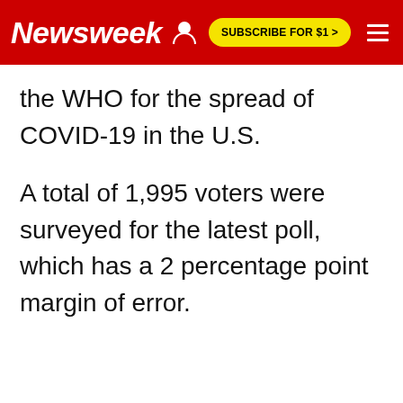Newsweek | SUBSCRIBE FOR $1 >
the WHO for the spread of COVID-19 in the U.S.
A total of 1,995 voters were surveyed for the latest poll, which has a 2 percentage point margin of error.